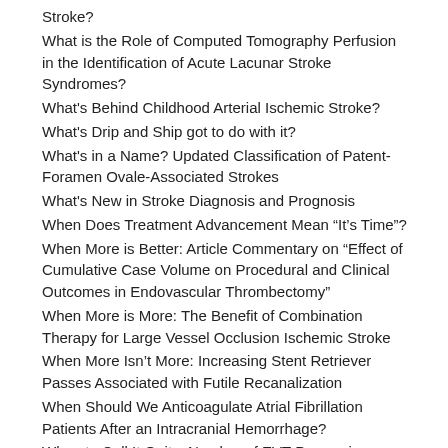Stroke?
What is the Role of Computed Tomography Perfusion in the Identification of Acute Lacunar Stroke Syndromes?
What's Behind Childhood Arterial Ischemic Stroke?
What's Drip and Ship got to do with it?
What's in a Name? Updated Classification of Patent-Foramen Ovale-Associated Strokes
What's New in Stroke Diagnosis and Prognosis
When Does Treatment Advancement Mean “It’s Time”?
When More is Better: Article Commentary on “Effect of Cumulative Case Volume on Procedural and Clinical Outcomes in Endovascular Thrombectomy”
When More is More: The Benefit of Combination Therapy for Large Vessel Occlusion Ischemic Stroke
When More Isn’t More: Increasing Stent Retriever Passes Associated with Futile Recanalization
When Should We Anticoagulate Atrial Fibrillation Patients After an Intracranial Hemorrhage?
When to Call It Quits: Number of EVT Passes is Associated With Increased ICH Risk
Which Hemostatic Agents Should We Use in Acute ICH?
Which Medical Treatment After Ischemic Stroke and Patent Foramen